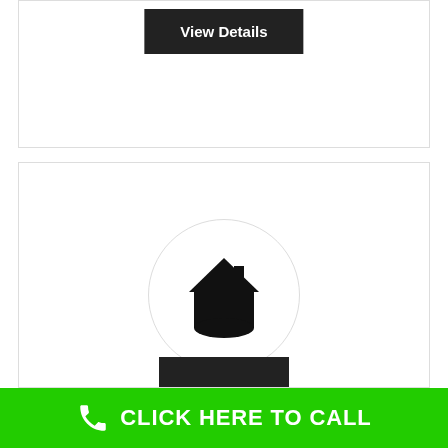View Details
[Figure (logo): Company logo placeholder: house/shield icon inside a light grey circle]
Patriot Pest Management
, Livermore, CA
Wholesale Trade
CLICK HERE TO CALL